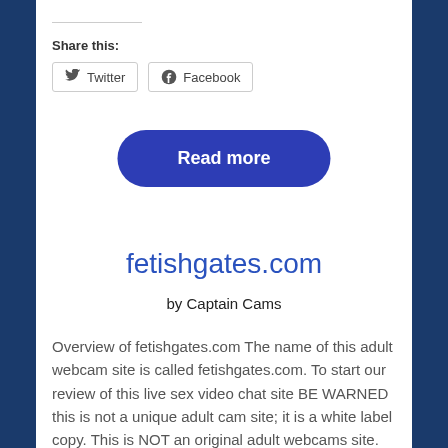Share this:
[Figure (screenshot): Twitter and Facebook share buttons]
[Figure (other): Read more button (blue rounded rectangle)]
fetishgates.com
by Captain Cams
Overview of fetishgates.com The name of this adult webcam site is called fetishgates.com. To start our review of this live sex video chat site BE WARNED this is not a unique adult cam site; it is a white label copy. This is NOT an original adult webcams site. Lots of people asking is a